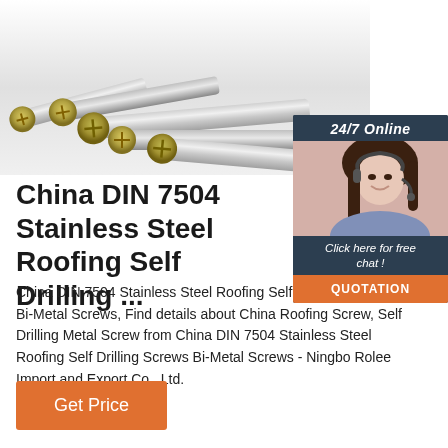[Figure (photo): Photograph of multiple stainless steel screws lined up, partially cropped at top. A customer service chat widget with a woman wearing a headset appears in the top right corner with '24/7 Online' header, 'Click here for free chat!' text, and an orange QUOTATION button.]
China DIN 7504 Stainless Steel Roofing Self Drilling ...
China DIN 7504 Stainless Steel Roofing Self Drilling Screws Bi-Metal Screws, Find details about China Roofing Screw, Self Drilling Metal Screw from China DIN 7504 Stainless Steel Roofing Self Drilling Screws Bi-Metal Screws - Ningbo Rolee Import and Export Co., Ltd.
Get Price